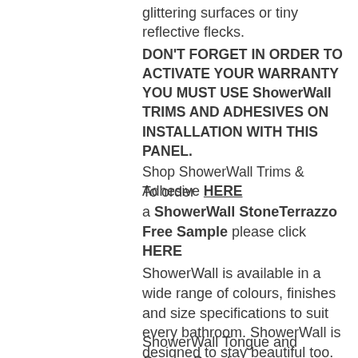glittering surfaces or tiny reflective flecks.
DON'T FORGET IN ORDER TO ACTIVATE YOUR WARRANTY YOU MUST USE ShowerWall TRIMS AND ADHESIVES ON INSTALLATION WITH THIS PANEL. Shop ShowerWall Trims & Adhesive HERE
To order a ShowerWall StoneTerrazzo Free Sample please click HERE
ShowerWall is available in a wide range of colours, finishes and size specifications to suit every bathroom. ShowerWall is designed to stay beautiful too.
ShowerWall Tongue and Groove Panels